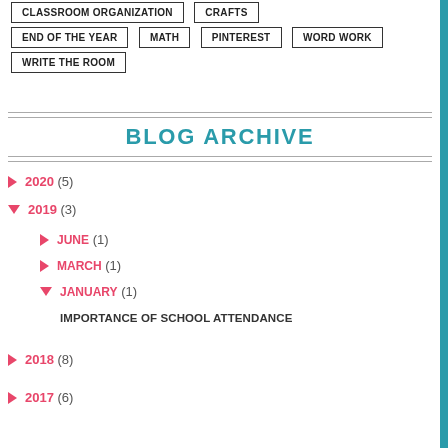CLASSROOM ORGANIZATION
CRAFTS
END OF THE YEAR
MATH
PINTEREST
WORD WORK
WRITE THE ROOM
BLOG ARCHIVE
► 2020 (5)
▼ 2019 (3)
► JUNE (1)
► MARCH (1)
▼ JANUARY (1)
IMPORTANCE OF SCHOOL ATTENDANCE
► 2018 (8)
► 2017 (6)